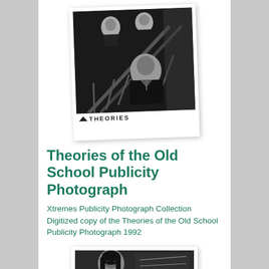[Figure (photo): Black and white publicity photograph showing three people on a staircase with ornate iron railings. The text 'THEORIES' appears at the bottom of the polaroid-style card.]
Theories of the Old School Publicity Photograph
Xtremes Publicity Photograph Collection Digitized copy of the Theories of the Old School Publicity Photograph 1992
[Figure (photo): Black and white photograph of a woman with dark hair and handwritten text visible to the right.]